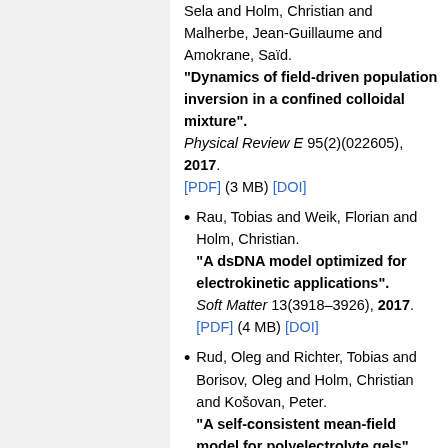Sela and Holm, Christian and Malherbe, Jean-Guillaume and Amokrane, Saïd. "Dynamics of field-driven population inversion in a confined colloidal mixture". Physical Review E 95(2)(022605), 2017. [PDF] (3 MB) [DOI]
Rau, Tobias and Weik, Florian and Holm, Christian. "A dsDNA model optimized for electrokinetic applications". Soft Matter 13(3918–3926), 2017. [PDF] (4 MB) [DOI]
Rud, Oleg and Richter, Tobias and Borisov, Oleg and Holm, Christian and Košovan, Peter. "A self-consistent mean-field model for polyelectrolyte gels".